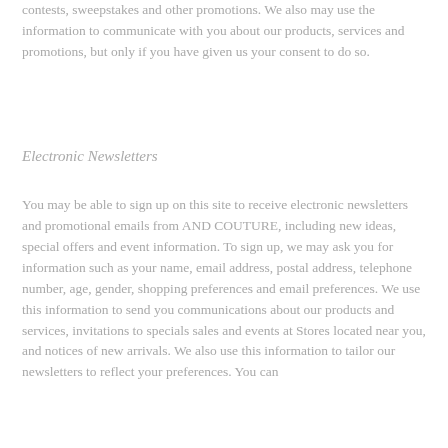contests, sweepstakes and other promotions. We also may use the information to communicate with you about our products, services and promotions, but only if you have given us your consent to do so.
Electronic Newsletters
You may be able to sign up on this site to receive electronic newsletters and promotional emails from AND COUTURE, including new ideas, special offers and event information. To sign up, we may ask you for information such as your name, email address, postal address, telephone number, age, gender, shopping preferences and email preferences. We use this information to send you communications about our products and services, invitations to specials sales and events at Stores located near you, and notices of new arrivals. We also use this information to tailor our newsletters to reflect your preferences. You can